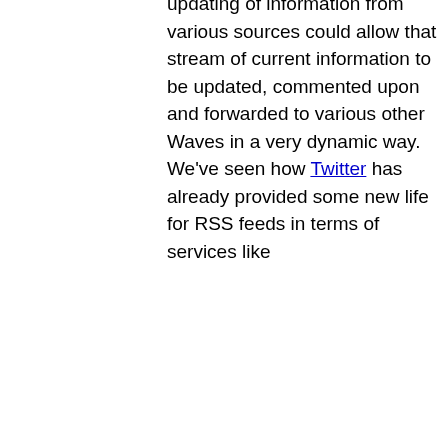updating of information from various sources could allow that stream of current information to be updated, commented upon and forwarded to various other Waves in a very dynamic way. We've seen how Twitter has already provided some new life for RSS feeds in terms of services like